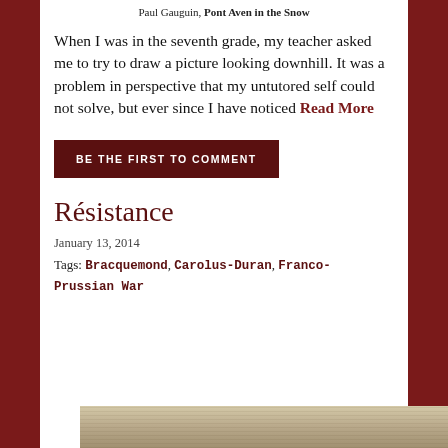Paul Gauguin, Pont Aven in the Snow
When I was in the seventh grade, my teacher asked me to try to draw a picture looking downhill. It was a problem in perspective that my untutored self could not solve, but ever since I have noticed Read More
BE THE FIRST TO COMMENT
Résistance
January 13, 2014
Tags: Bracquemond, Carolus-Duran, Franco-Prussian War
[Figure (photo): Bottom portion of an artwork, sepia/tan toned image]